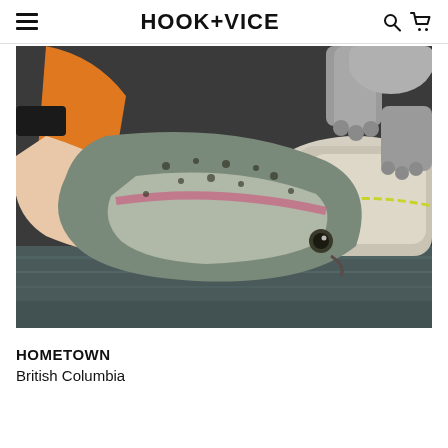HOOK+VICE
[Figure (photo): A person holding a rainbow trout near the water surface, with a dog's paws visible leaning over from a raft in the background. The angler is wearing a ring and an orange life vest is visible.]
HOMETOWN
British Columbia